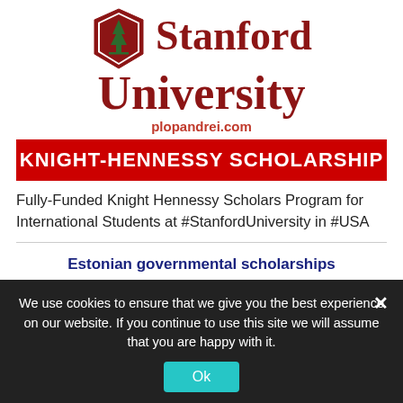[Figure (logo): Stanford University logo with red shield and green tree, alongside bold red 'Stanford University' text and 'plopandrei.com' URL]
KNIGHT-HENNESSY SCHOLARSHIP
Fully-Funded Knight Hennessy Scholars Program for International Students at #StanfordUniversity in #USA
[Figure (logo): Estonian governmental scholarships section with blue box logo and 'Estonia' text]
Estonian governmental scholarships
Deadline: 01 September 2022
We use cookies to ensure that we give you the best experience on our website. If you continue to use this site we will assume that you are happy with it.